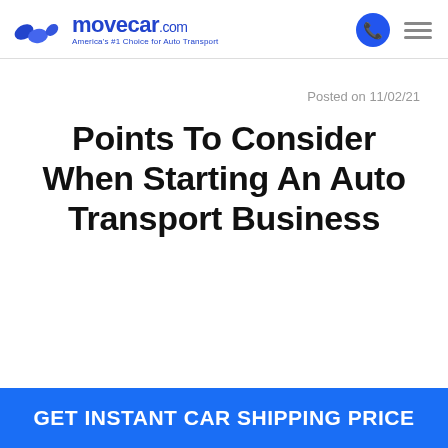movecar.com — America's #1 Choice for Auto Transport
Posted on 11/02/21
Points To Consider When Starting An Auto Transport Business
GET INSTANT CAR SHIPPING PRICE